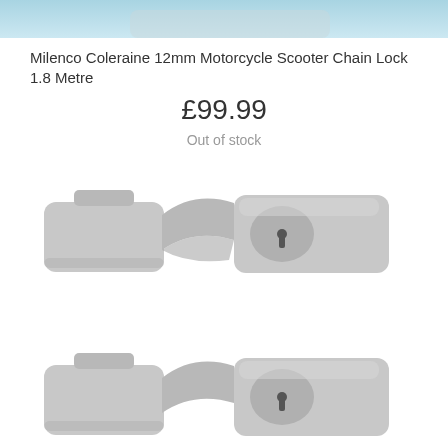[Figure (photo): Top portion of a motorcycle scooter chain lock product photo with light blue background]
Milenco Coleraine 12mm Motorcycle Scooter Chain Lock 1.8 Metre
£99.99
Out of stock
[Figure (photo): Gray motorcycle scooter chain lock mechanism shown from side angle, with key slot visible]
[Figure (photo): Second gray motorcycle scooter chain lock, partially visible at bottom of page]